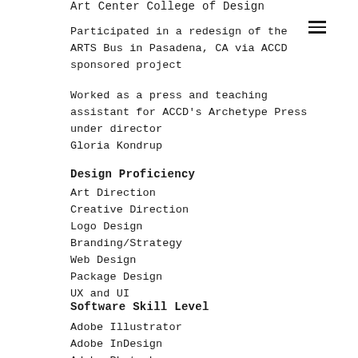Art Center College of Design
Participated in a redesign of the ARTS Bus in Pasadena, CA via ACCD sponsored project
Worked as a press and teaching assistant for ACCD's Archetype Press under director Gloria Kondrup
Design Proficiency
Art Direction
Creative Direction
Logo Design
Branding/Strategy
Web Design
Package Design
UX and UI
Software Skill Level
Adobe Illustrator
Adobe InDesign
Adobe Photoshop
Adobe XD